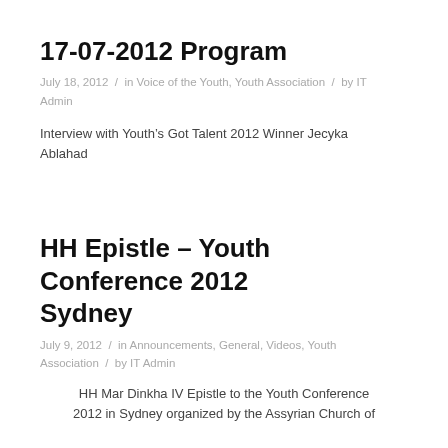17-07-2012 Program
July 18, 2012  /  in Voice of the Youth, Youth Association  /  by IT Admin
Interview with Youth’s Got Talent 2012 Winner Jecyka Ablahad
HH Epistle – Youth Conference 2012 Sydney
July 9, 2012  /  in Announcements, General, Videos, Youth Association  /  by IT Admin
HH Mar Dinkha IV Epistle to the Youth Conference 2012 in Sydney organized by the Assyrian Church of